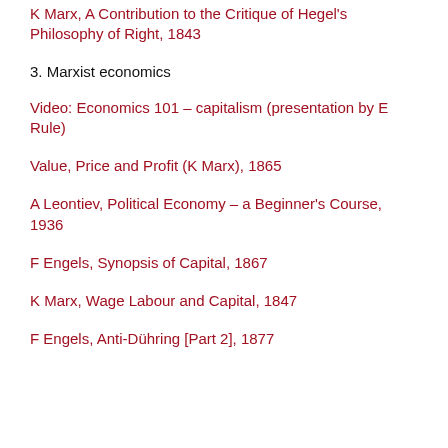K Marx, A Contribution to the Critique of Hegel's Philosophy of Right, 1843
3. Marxist economics
Video: Economics 101 – capitalism (presentation by E Rule)
Value, Price and Profit (K Marx), 1865
A Leontiev, Political Economy – a Beginner's Course, 1936
F Engels, Synopsis of Capital, 1867
K Marx, Wage Labour and Capital, 1847
F Engels, Anti-Dühring [Part 2], 1877